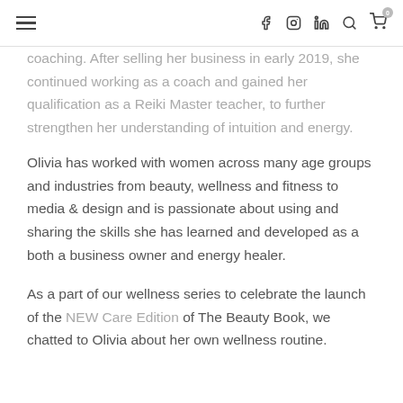≡  f  Instagram  in  Search  Cart (0)
coaching. After selling her business in early 2019, she continued working as a coach and gained her qualification as a Reiki Master teacher, to further strengthen her understanding of intuition and energy.
Olivia has worked with women across many age groups and industries from beauty, wellness and fitness to media & design and is passionate about using and sharing the skills she has learned and developed as a both a business owner and energy healer.
As a part of our wellness series to celebrate the launch of the NEW Care Edition of The Beauty Book, we chatted to Olivia about her own wellness routine.